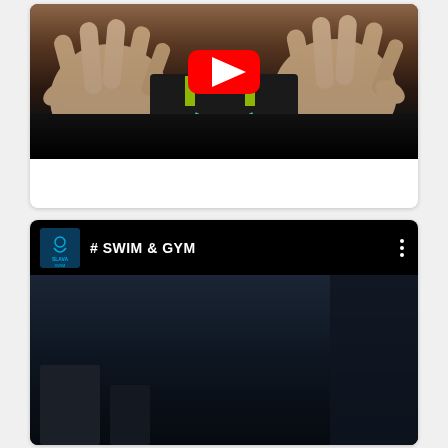[Figure (screenshot): YouTube video thumbnail showing hands stretched out toward the camera, person wearing black and green Under Armour shirt. YouTube play button overlay visible. Black bar at bottom.]
[Figure (screenshot): YouTube channel embed for SLAVA SWIM showing '# SWIM & GYM' title with channel logo on left, three-dot menu on right, on black background. Below is a dark video content area.]